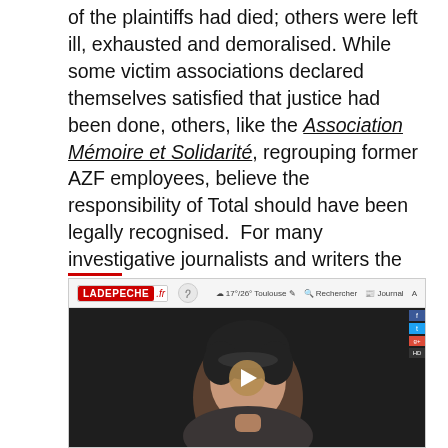of the plaintiffs had died; others were left ill, exhausted and demoralised. While some victim associations declared themselves satisfied that justice had been done, others, like the Association Mémoire et Solidarité, regrouping former AZF employees, believe the responsibility of Total should have been legally recognised.  For many investigative journalists and writers the affair is still troubling: numerous books and articles have been written on the subject over the years. And, for many who survived , life will never be the same.
[Figure (screenshot): Screenshot of ladepeche.fr website showing a video player with a woman's face and a play button. Browser navigation bar visible at top showing the LADEPECHE.fr logo, weather (17°/26° Toulouse), Rechercher, and Journal icons.]